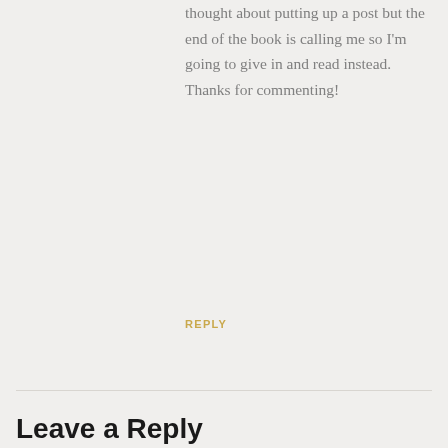thought about putting up a post but the end of the book is calling me so I'm going to give in and read instead. Thanks for commenting!
REPLY
Leave a Reply
Your email address will not be published.
[Figure (other): Comment input text area box, empty, light grey background]